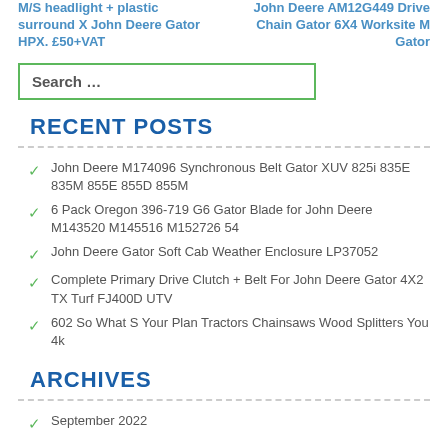M/S headlight + plastic surround X John Deere Gator HPX. £50+VAT
John Deere AM12G449 Drive Chain Gator 6X4 Worksite M Gator
Search …
RECENT POSTS
John Deere M174096 Synchronous Belt Gator XUV 825i 835E 835M 855E 855D 855M
6 Pack Oregon 396-719 G6 Gator Blade for John Deere M143520 M145516 M152726 54
John Deere Gator Soft Cab Weather Enclosure LP37052
Complete Primary Drive Clutch + Belt For John Deere Gator 4X2 TX Turf FJ400D UTV
602 So What S Your Plan Tractors Chainsaws Wood Splitters You 4k
ARCHIVES
September 2022